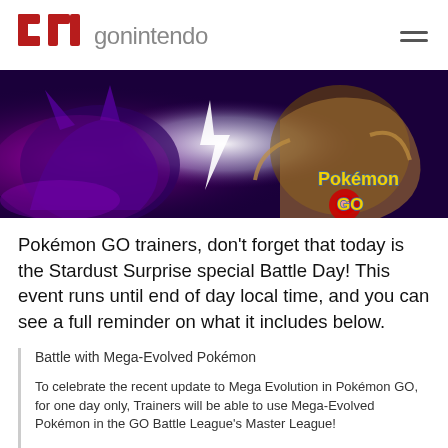gonintendo
[Figure (photo): Pokemon GO battle scene banner showing Mega Gengar on the left and Alakazam on the right with lightning bolt between them, Pokemon GO logo in bottom right]
Pokémon GO trainers, don't forget that today is the Stardust Surprise special Battle Day! This event runs until end of day local time, and you can see a full reminder on what it includes below.
Battle with Mega-Evolved Pokémon
To celebrate the recent update to Mega Evolution in Pokémon GO, for one day only, Trainers will be able to use Mega-Evolved Pokémon in the GO Battle League's Master League!
We look forward to seeing what strategies Trainers come up with using their Mega-Evolved Pokémon...